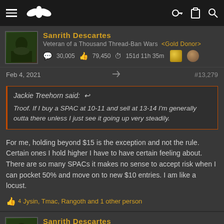Navigation bar with hamburger menu, eagle logo, key icon, clipboard icon, search icon
Sanrith Descartes
Veteran of a Thousand Thread-Ban Wars <Gold Donor>
30,005  79,450  151d 11h 35m
Feb 4, 2021  #13,279
Jackie Treehorn said: ↩

Troof. If I buy a SPAC at 10-11 and sell at 13-14 I'm generally outta there unless I just see it going up very steadily.
For me, holding beyond $15 is the exception and not the rule. Certain ones I hold higher I have to have certain feeling about. There are so many SPACs it makes no sense to accept risk when I can pocket 50% and move on to new $10 entries. I am like a locust.
Jysin, Tmac, Rangoth and 1 other person
Sanrith Descartes
Veteran of a Thousand Thread-Ban Wars <Gold Donor>
30,005  79,450  151d 11h 35m